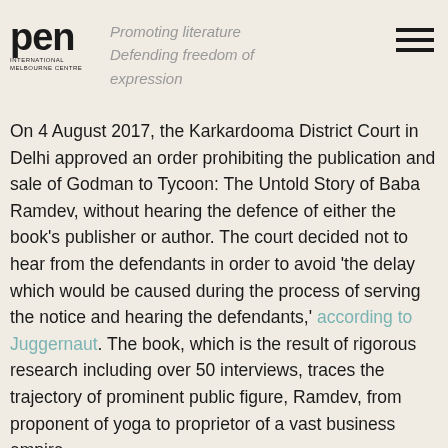[Figure (logo): PEN International Melbourne Centre logo with bold 'pen' text and small subtitle text]
Promoting literature Defending freedom of expression
On 4 August 2017, the Karkardooma District Court in Delhi approved an order prohibiting the publication and sale of Godman to Tycoon: The Untold Story of Baba Ramdev, without hearing the defence of either the book's publisher or author. The court decided not to hear from the defendants in order to avoid 'the delay which would be caused during the process of serving the notice and hearing the defendants,' according to Juggernaut. The book, which is the result of rigorous research including over 50 interviews, traces the trajectory of prominent public figure, Ramdev, from proponent of yoga to proprietor of a vast business empire.